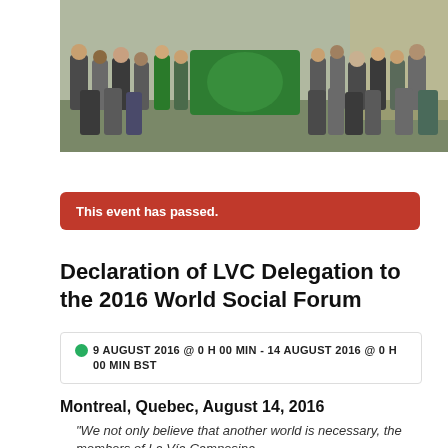[Figure (photo): Group photo of LVC delegation members standing together holding a green La Via Campesina flag/banner outdoors]
This event has passed.
Declaration of LVC Delegation to the 2016 World Social Forum
9 AUGUST 2016 @ 0 H 00 MIN - 14 AUGUST 2016 @ 0 H 00 MIN BST
Montreal, Quebec, August 14, 2016
"We not only believe that another world is necessary, the members of La Vía Campesina